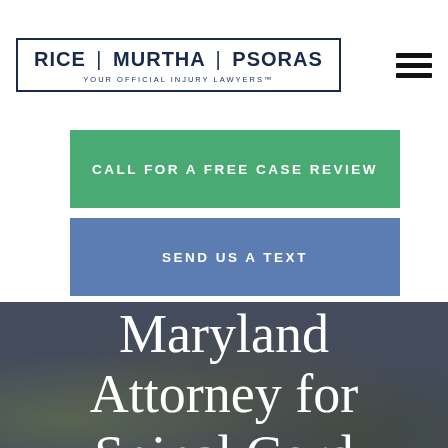[Figure (logo): Rice Murtha Psoras law firm logo — name in bordered box with tagline 'YOUR OFFICIAL INJURY LAWYERS™']
CALL FOR A FREE CASE REVIEW
SEND US A TEXT
Maryland Attorney for Spinal Cord Damage During